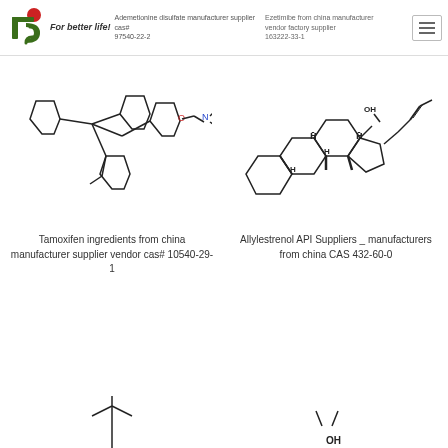TCS — For better life! | Ademetionine disulfate manufacturer supplier cas# 97540-22-2 | Ezetimibe from china manufacturer vendor factory supplier cas# 163222-33-1
[Figure (illustration): Chemical structure of Tamoxifen]
Tamoxifen ingredients from china manufacturer supplier vendor cas# 10540-29-1
[Figure (illustration): Chemical structure of Allylestrenol]
Allylestrenol API Suppliers _ manufacturers from china CAS 432-60-0